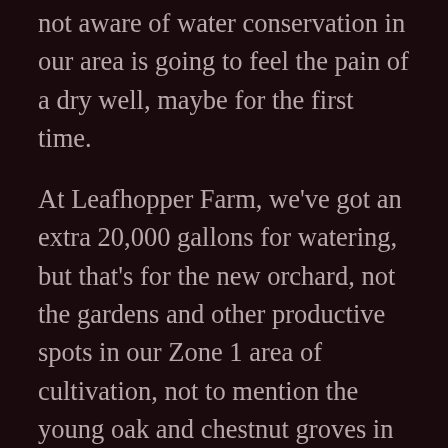not aware of water conservation in our area is going to feel the pain of a dry well, maybe for the first time.
At Leafhopper Farm, we've got an extra 20,000 gallons for watering, but that's for the new orchard, not the gardens and other productive spots in our Zone 1 area of cultivation, not to mention the young oak and chestnut groves in the outer zones. This Summer will be a real test for us all. Besides the plants, I'm also worried about the people. We don't have air conditioner, there is no filtration on the air from outside to inside, and with fire comes a lot of smoke. Western Washington may end up being a miserable place in summer.